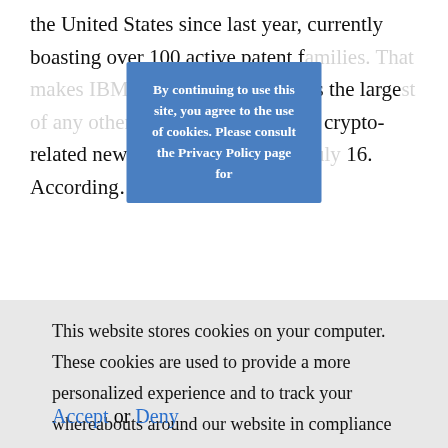the United States since last year, currently boasting over 100 active patent families. That makes IBM's growth in US patents the largest of any other holding to a report by crypto-related news site BeInCrypto on July 16. According…
By continuing to use this site, you agree to the use of cookies. Please consult the Privacy Policy page for
This website stores cookies on your computer. These cookies are used to provide a more personalized experience and to track your whereabouts around our website in compliance with the European General Data Protection Regulation. If you decide to to opt-out of any future tracking, a cookie will be setup in your browser to remember this choice for one year.
Accept or Deny